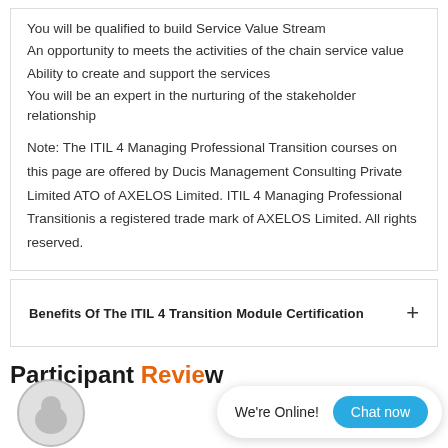You will be qualified to build Service Value Stream
An opportunity to meets the activities of the chain service value
Ability to create and support the services
You will be an expert in the nurturing of the stakeholder relationship
Note: The ITIL 4 Managing Professional Transition courses on this page are offered by Ducis Management Consulting Private Limited ATO of AXELOS Limited. ITIL 4 Managing Professional Transitionis a registered trade mark of AXELOS Limited. All rights reserved.
Benefits Of The ITIL 4 Transition Module Certification
Participant Review
We're Online!